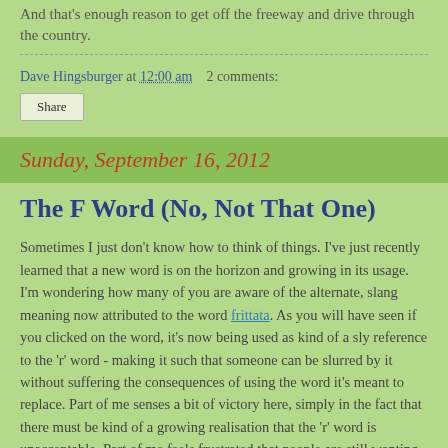And that's enough reason to get off the freeway and drive through the country.
Dave Hingsburger at 12:00 am   2 comments:
Share
Sunday, September 16, 2012
The F Word (No, Not That One)
Sometimes I just don't know how to think of things. I've just recently learned that a new word is on the horizon and growing in its usage. I'm wondering how many of you are aware of the alternate, slang meaning now attributed to the word frittata. As you will have seen if you clicked on the word, it's now being used as kind of a sly reference to the 'r' word - making it such that someone can be slurred by it without suffering the consequences of using the word it's meant to replace. Part of me senses a bit of victory here, simply in the fact that there must be kind of a growing realisation that the 'r' word is unacceptable. Part of me feels frustrated that people are still wanting to 'keep' a negative...